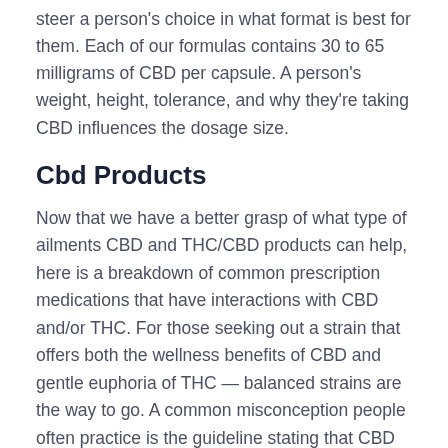steer a person's choice in what format is best for them. Each of our formulas contains 30 to 65 milligrams of CBD per capsule. A person's weight, height, tolerance, and why they're taking CBD influences the dosage size.
Cbd Products
Now that we have a better grasp of what type of ailments CBD and THC/CBD products can help, here is a breakdown of common prescription medications that have interactions with CBD and/or THC. For those seeking out a strain that offers both the wellness benefits of CBD and gentle euphoria of THC — balanced strains are the way to go. A common misconception people often practice is the guideline stating that CBD is strictly medical marijuana and THC is the recreational kind. Both can be used medically or recreationally, and they can even be used together. It has been deemed the latest health and wellness trend, but what is CBD?